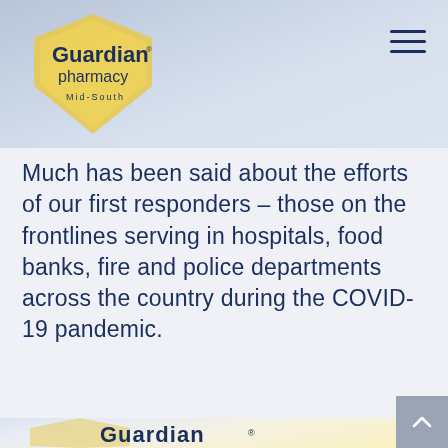[Figure (logo): Guardian Pharmacy Mid-South logo with shield shape in yellow/gold and blue text]
Much has been said about the efforts of our first responders – those on the frontlines serving in hospitals, food banks, fire and police departments across the country during the COVID-19 pandemic.
[Figure (logo): Guardian Pharmacy logo large format on cream/yellow background with gold shield shape]